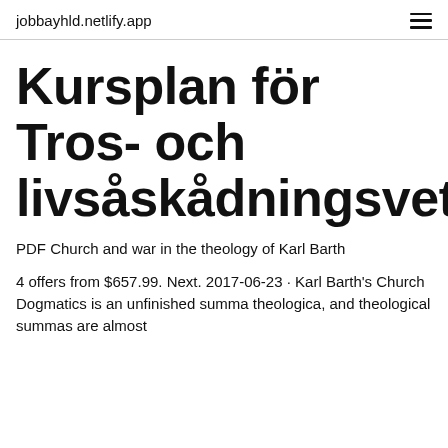jobbayhld.netlify.app
Kursplan för Tros- och livsåskådningsvetenskap
PDF Church and war in the theology of Karl Barth
4 offers from $657.99. Next. 2017-06-23 · Karl Barth's Church Dogmatics is an unfinished summa theologica, and theological summas are almost